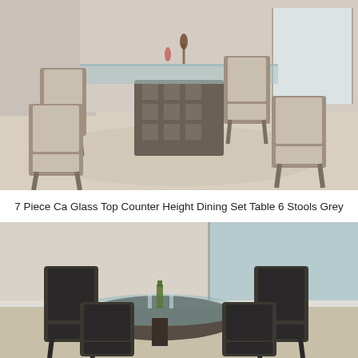[Figure (photo): 7-piece counter height dining set with glass top table and 6 upholstered grey bar stools in a living room setting]
7 Piece Ca Glass Top Counter Height Dining Set Table 6 Stools Grey
[Figure (photo): 5-piece dining set with round glass top table and 4 dark grey/black upholstered chairs in a room with window view]